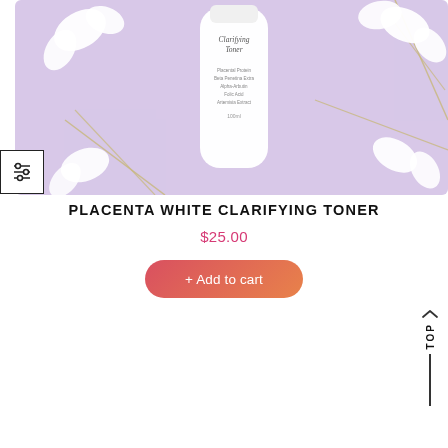[Figure (photo): Product photo of a white cylindrical 'Clarifying Toner' bottle labeled with Placental Protein, Beta Penetina Extra, Alpha-Arbutin, Folic Acid, Artemise Extract, 100ml, placed on a lavender/lilac background surrounded by white sweet-pea flowers and golden vine stems.]
PLACENTA WHITE CLARIFYING TONER
$25.00
+ Add to cart